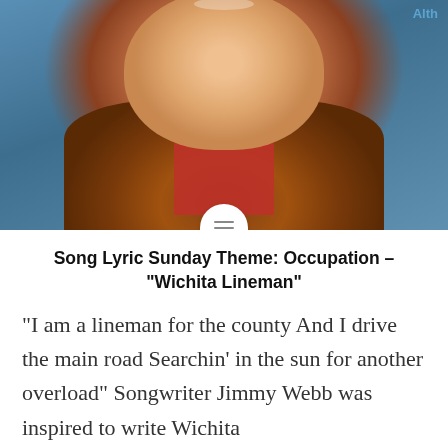[Figure (photo): Close-up photo of a smiling man wearing a brown leather jacket and red polka-dot shirt/scarf, set against a blue background. A circular menu icon overlays the bottom center of the image. Blue text 'Alth' appears in the top right corner.]
Song Lyric Sunday Theme: Occupation – “Wichita Lineman”
“I am a lineman for the county And I drive the main road Searchin’ in the sun for another overload” Songwriter Jimmy Webb was inspired to write Wichita